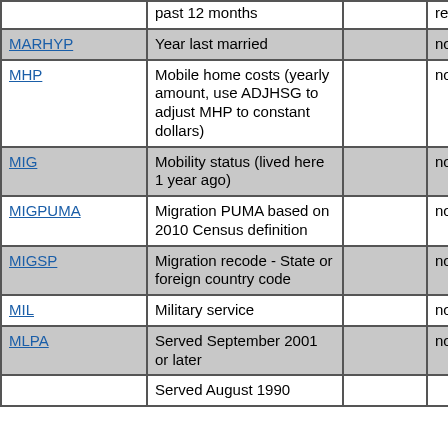| Variable | Description |  | Notes |  |
| --- | --- | --- | --- | --- |
|  | past 12 months |  | required |  |
| MARHYP | Year last married |  | not required |  |
| MHP | Mobile home costs (yearly amount, use ADJHSG to adjust MHP to constant dollars) |  | not required |  |
| MIG | Mobility status (lived here 1 year ago) |  | not required |  |
| MIGPUMA | Migration PUMA based on 2010 Census definition |  | not required |  |
| MIGSP | Migration recode - State or foreign country code |  | not required |  |
| MIL | Military service |  | not required |  |
| MLPA | Served September 2001 or later |  | not required |  |
|  | Served August 1990 |  |  |  |